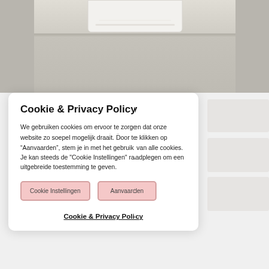[Figure (photo): Photo of a wall-mounted air conditioning unit above a floor/counter surface, partially cropped at top.]
Cookie & Privacy Policy
We gebruiken cookies om ervoor te zorgen dat onze website zo soepel mogelijk draait. Door te klikken op “Aanvaarden”, stem je in met het gebruik van alle cookies. Je kan steeds de "Cookie Instellingen" raadplegen om een uitgebreide toestemming te geven.
Cookie Instellingen    Aanvaarden
Cookie & Privacy Policy